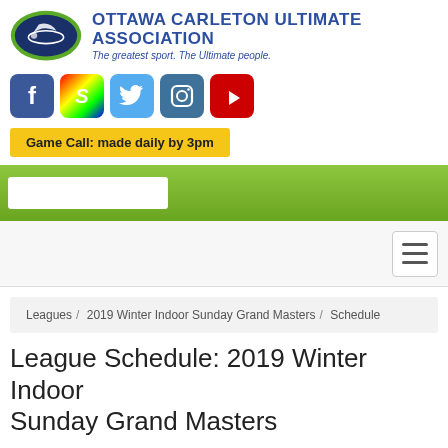[Figure (logo): Ottawa Carleton Ultimate Association logo: green oval with dark blue background containing a flying disc and player silhouette, alongside organization name and tagline]
[Figure (infographic): Row of 5 social media icons: Facebook (blue), Swarmapp (colorful), Twitter (light blue), Instagram (dark blue), YouTube (red)]
Game Call: made daily by 3pm
[Figure (screenshot): Green navigation bar with white search input box on left side]
[Figure (screenshot): Light grey menu bar with hamburger menu icon on right side]
Leagues / 2019 Winter Indoor Sunday Grand Masters / Schedule
League Schedule: 2019 Winter Indoor Sunday Grand Masters